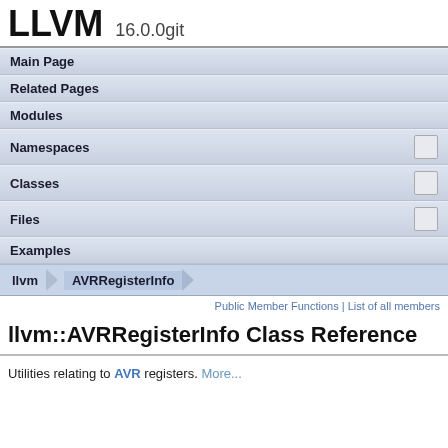LLVM 16.0.0git
Main Page
Related Pages
Modules
Namespaces
Classes
Files
Examples
llvm  AVRRegisterInfo
Public Member Functions | List of all members
llvm::AVRRegisterInfo Class Reference
Utilities relating to AVR registers. More...